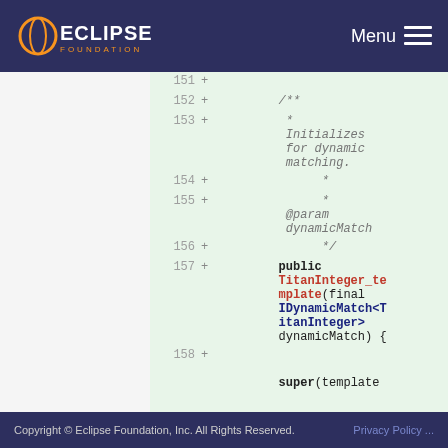Eclipse Foundation — Menu
[Figure (screenshot): Code diff view showing Java source code lines 151-158 with added lines (marked +) on a green background. Shows a Javadoc comment for a method that initializes for dynamic matching, and the beginning of a public constructor TitanInteger_template(final IDynamicMatch<TitanInteger> dynamicMatch) {]
Copyright © Eclipse Foundation, Inc. All Rights Reserved.    Privacy Policy ...